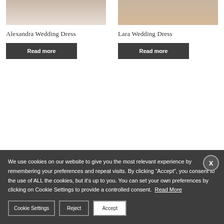[Figure (photo): Top portion of Alexandra Wedding Dress product photo showing a bride in white dress]
[Figure (photo): Top portion of Lara Wedding Dress product photo showing a bride in white dress with auburn hair]
Alexandra Wedding Dress
Lara Wedding Dress
Read more
Read more
We use cookies on our website to give you the most relevant experience by remembering your preferences and repeat visits. By clicking “Accept”, you consent to the use of ALL the cookies, but it's up to you. You can set your own preferences by clicking on Cookie Settings to provide a controlled consent. Read More
Cookie Settings
Reject
Accept